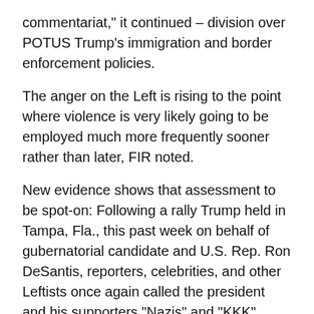commentariat," it continued – division over POTUS Trump's immigration and border enforcement policies.
The anger on the Left is rising to the point where violence is very likely going to be employed much more frequently sooner rather than later, FIR noted.
New evidence shows that assessment to be spot-on: Following a rally Trump held in Tampa, Fla., this past week on behalf of gubernatorial candidate and U.S. Rep. Ron DeSantis, reporters, celebrities, and other Leftists once again called the president and his supporters "Nazis" and "KKK" members – grossly inaccurate, of course. But they went a step further in calling for POTUS Trump's supporters to be "euthanized."
Murdered, in other words, simply for supporting a